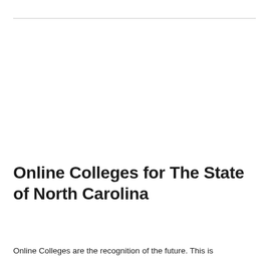Online Colleges for The State of North Carolina
Online Colleges are the recognition of the future. This is